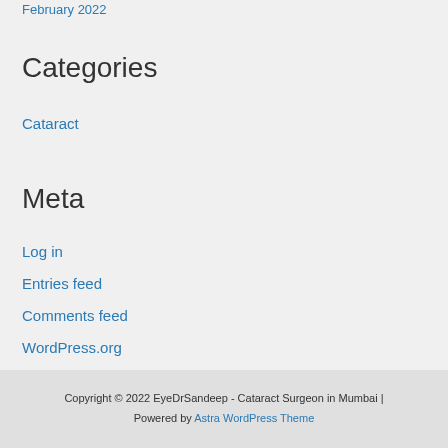February 2022
Categories
Cataract
Meta
Log in
Entries feed
Comments feed
WordPress.org
Copyright © 2022 EyeDrSandeep - Cataract Surgeon in Mumbai | Powered by Astra WordPress Theme